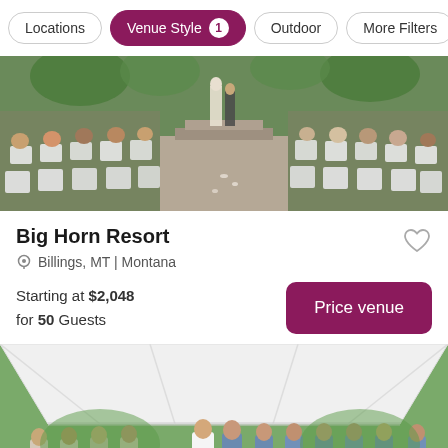Locations | Venue Style 1 | Outdoor | More Filters
[Figure (photo): Outdoor wedding ceremony with guests seated in white chairs facing a couple at the altar with steps and greenery in the background]
Big Horn Resort
Billings, MT | Montana
Starting at $2,048 for 50 Guests
[Figure (photo): Wedding ceremony under a large white tent with bridal party and guests, greenery visible in background]